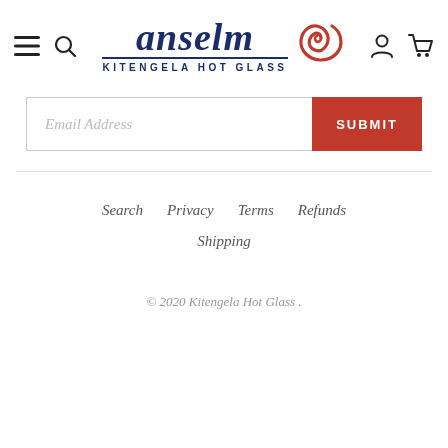[Figure (logo): Anselm Kitengela Hot Glass logo with stylized italic wordmark in dark navy blue and a red spiral/swirl graphic element on the right. Subtitle reads KITENGELA HOT GLASS in small caps.]
Email Address
SUBMIT
Search   Privacy   Terms   Refunds   Shipping
© 2020 Kitengela Hot Glass .